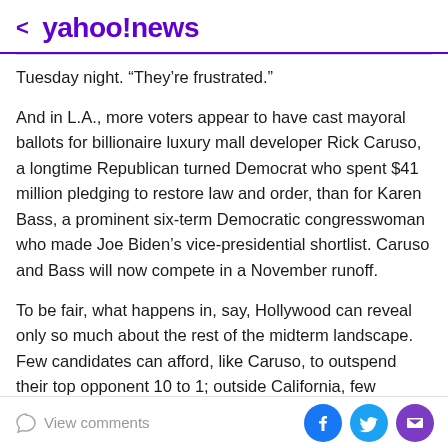< yahoo!news
Tuesday night. “They’re frustrated.”
And in L.A., more voters appear to have cast mayoral ballots for billionaire luxury mall developer Rick Caruso, a longtime Republican turned Democrat who spent $41 million pledging to restore law and order, than for Karen Bass, a prominent six-term Democratic congresswoman who made Joe Biden’s vice-presidential shortlist. Caruso and Bass will now compete in a November runoff.
To be fair, what happens in, say, Hollywood can reveal only so much about the rest of the midterm landscape. Few candidates can afford, like Caruso, to outspend their top opponent 10 to 1; outside California, few candidates
View comments